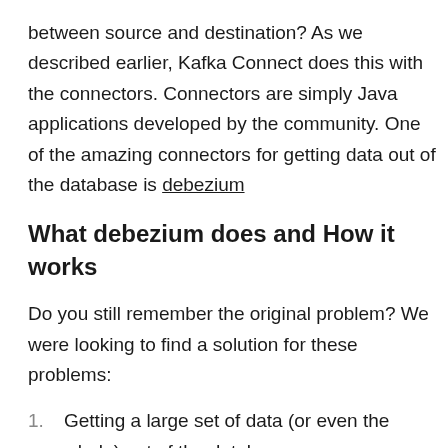between source and destination? As we described earlier, Kafka Connect does this with the connectors. Connectors are simply Java applications developed by the community. One of the amazing connectors for getting data out of the database is debezium
What debezium does and How it works
Do you still remember the original problem? We were looking to find a solution for these problems:
Getting a large set of data (or even the whole) out of the database